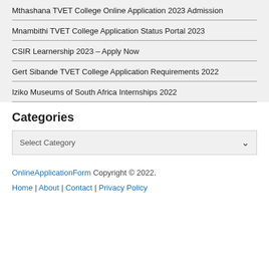Mthashana TVET College Online Application 2023 Admission
Mnambithi TVET College Application Status Portal 2023
CSIR Learnership 2023 – Apply Now
Gert Sibande TVET College Application Requirements 2022
Iziko Museums of South Africa Internships 2022
Categories
Select Category
OnlineApplicationForm Copyright © 2022.
Home | About | Contact | Privacy Policy